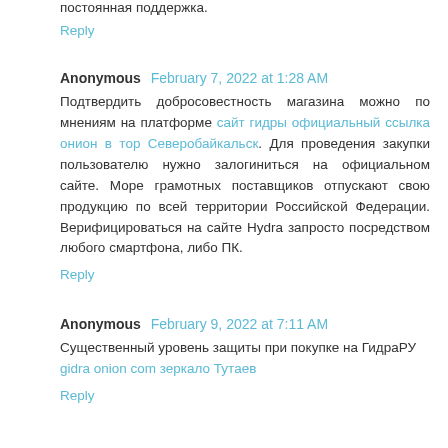постоянная поддержка.
Reply
Anonymous February 7, 2022 at 1:28 AM
Подтвердить добросовестность магазина можно по мнениям на платформе сайт гидры официальный ссылка онион в тор Северобайкальск. Для проведения закупки пользователю нужно залогиниться на официальном сайте. Море грамотных поставщиков отпускают свою продукцию по всей территории Российской Федерации. Верифицироваться на сайте Hydra запросто посредством любого смартфона, либо ПК.
Reply
Anonymous February 9, 2022 at 7:11 AM
Существенный уровень защиты при покупке на ГидраРУ gidra onion com зеркало Тутаев
Reply